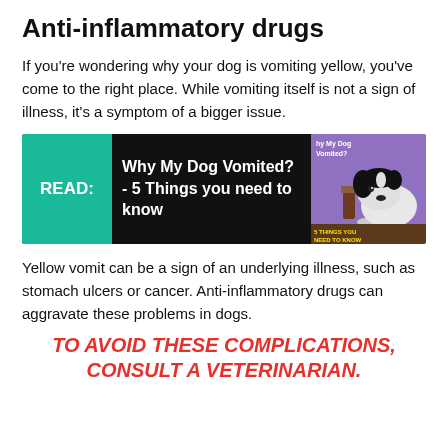Anti-inflammatory drugs
If you're wondering why your dog is vomiting yellow, you've come to the right place. While vomiting itself is not a sign of illness, it's a symptom of a bigger issue.
[Figure (infographic): Dark banner ad with teal READ: button on left, white bold text 'Why My Dog Vomited? - 5 Things you need to know' in center, and photo of a dog with medicine bottles on purple background on right.]
Yellow vomit can be a sign of an underlying illness, such as stomach ulcers or cancer. Anti-inflammatory drugs can aggravate these problems in dogs.
TO AVOID THESE COMPLICATIONS, CONSULT A VETERINARIAN.